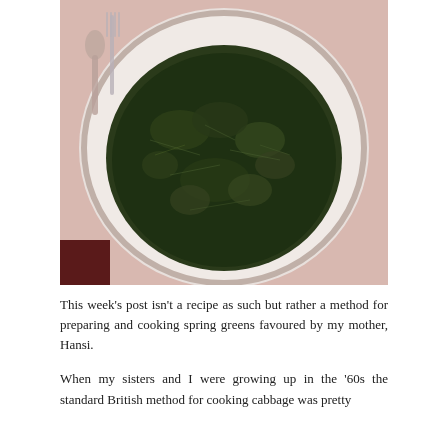[Figure (photo): Overhead photograph of cooked dark green spring greens/cabbage served in a white bowl on a pink/beige surface, with cutlery (fork and spoon) visible in the upper left corner.]
This week's post isn't a recipe as such but rather a method for preparing and cooking spring greens favoured by my mother, Hansi.
When my sisters and I were growing up in the '60s the standard British method for cooking cabbage was pretty